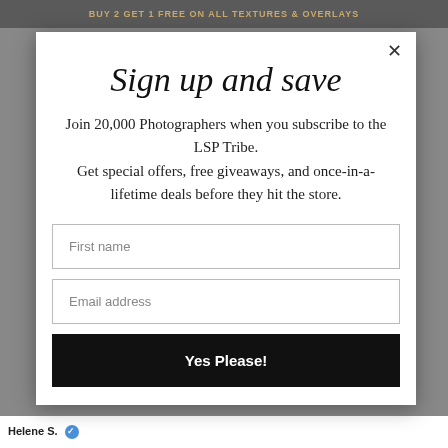BUY 2 GET 1 FREE ON ALL TEXTURES & OVERLAYS
Sign up and save
Join 20,000 Photographers when you subscribe to the LSP Tribe. Get special offers, free giveaways, and once-in-a-lifetime deals before they hit the store.
First name
Email address
Yes Please!
Helene S.